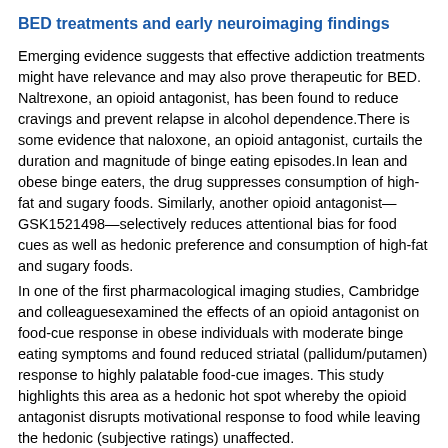BED treatments and early neuroimaging findings
Emerging evidence suggests that effective addiction treatments might have relevance and may also prove therapeutic for BED. Naltrexone, an opioid antagonist, has been found to reduce cravings and prevent relapse in alcohol dependence.There is some evidence that naloxone, an opioid antagonist, curtails the duration and magnitude of binge eating episodes.In lean and obese binge eaters, the drug suppresses consumption of high-fat and sugary foods. Similarly, another opioid antagonist—GSK1521498—selectively reduces attentional bias for food cues as well as hedonic preference and consumption of high-fat and sugary foods.
In one of the first pharmacological imaging studies, Cambridge and colleaguesexamined the effects of an opioid antagonist on food-cue response in obese individuals with moderate binge eating symptoms and found reduced striatal (pallidum/putamen) response to highly palatable food-cue images. This study highlights this area as a hedonic hot spot whereby the opioid antagonist disrupts motivational response to food while leaving the hedonic (subjective ratings) unaffected.
These converging lines of evidence suggest the potential utility of testing naltrexone and other opioid antagonists as BED treatment. It must be noted, however, that one randomized clinical trial failed to show that naltrexone had a specific effect relative to placebo for